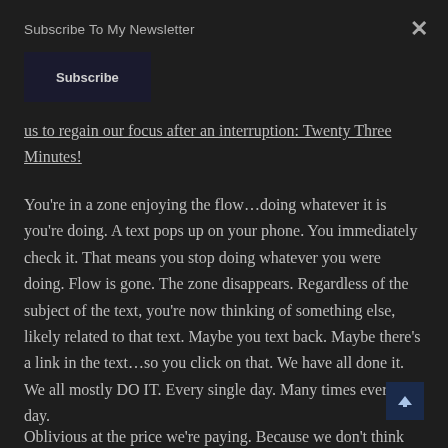Subscribe To My Newsletter
us to regain our focus after an interruption: Twenty Three Minutes!
You're in a zone enjoying the flow…doing whatever it is you're doing. A text pops up on your phone. You immediately check it. That means you stop doing whatever you were doing. Flow is gone. The zone disappears. Regardless of the subject of the text, you're now thinking of something else, likely related to that text. Maybe you text back. Maybe there's a link in the text…so you click on that. We have all done it. We all mostly DO IT. Every single day. Many times every day.
Oblivious at the price we're paying. Because we don't think